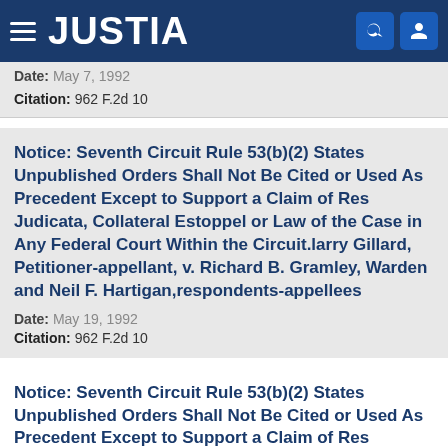JUSTIA
Date: May 7, 1992
Citation: 962 F.2d 10
Notice: Seventh Circuit Rule 53(b)(2) States Unpublished Orders Shall Not Be Cited or Used As Precedent Except to Support a Claim of Res Judicata, Collateral Estoppel or Law of the Case in Any Federal Court Within the Circuit.larry Gillard, Petitioner-appellant, v. Richard B. Gramley, Warden and Neil F. Hartigan,respondents-appellees
Date: May 19, 1992
Citation: 962 F.2d 10
Notice: Seventh Circuit Rule 53(b)(2) States Unpublished Orders Shall Not Be Cited or Used As Precedent Except to Support a Claim of Res Judicata